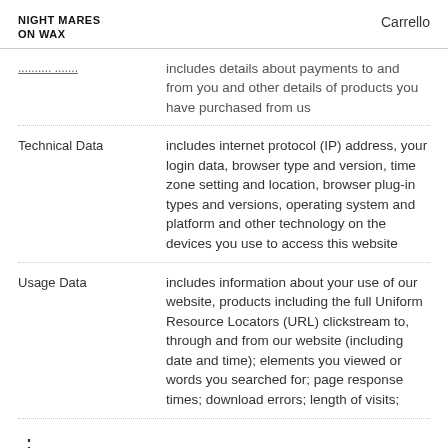NIGHTMARES ON WAX    Carrello
Transaction Data — includes details about payments to and from you and other details of products you have purchased from us
Technical Data — includes internet protocol (IP) address, your login data, browser type and version, time zone setting and location, browser plug-in types and versions, operating system and platform and other technology on the devices you use to access this website
Usage Data — includes information about your use of our website, products including the full Uniform Resource Locators (URL) clickstream to, through and from our website (including date and time); elements you viewed or words you searched for; page response times; download errors; length of visits;
⋮